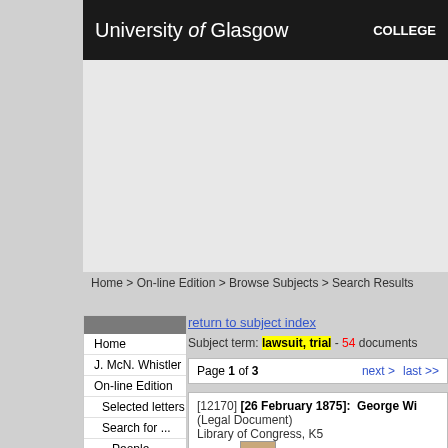University of Glasgow — COLLEGE
Home > On-line Edition > Browse Subjects > Search Results
Home
J. McN. Whistler
On-line Edition
Selected letters
Search for ...
People
Letters by date
Subjects
Works of Art
Exhibitions
Institutions
Places
Freetext
Record No
Contacts
Resources
return to subject index
Subject term: lawsuit, trial - 54 documents
Page 1 of 3  next >  last >>
[12170] [26 February 1875]: George Wi... (Legal Document) Library of Congress, K5 [more]
[5437] [February/October 1889]: Walter... Glasgow University Library, MS Whistler S [more]
[13445] 28 June 1890: Stéphane Mallar...